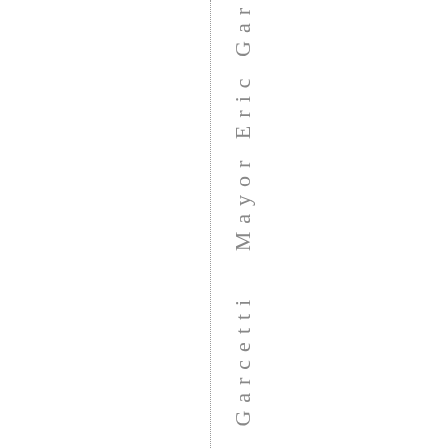ic Garcetti  Mayor Eric Gar
[Figure (other): Vertical dotted line dividing the page, with vertically-oriented repeated text reading 'ic Garcetti Mayor Eric Gar' in gray on the right half]